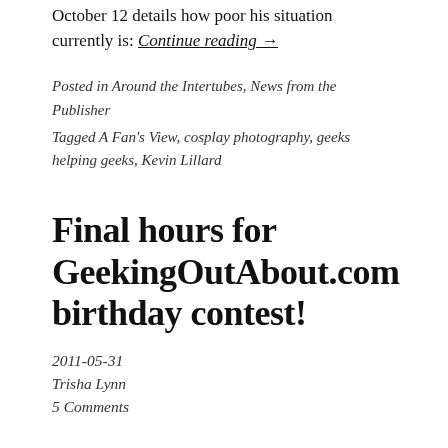October 12 details how poor his situation currently is: Continue reading →
Posted in Around the Intertubes, News from the Publisher
Tagged A Fan's View, cosplay photography, geeks helping geeks, Kevin Lillard
Final hours for GeekingOutAbout.com birthday contest!
2011-05-31
Trisha Lynn
5 Comments